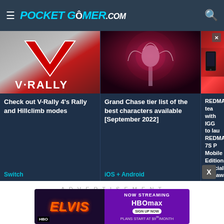PocketGamer.com
[Figure (screenshot): V-Rally 4 game thumbnail with red V graphic]
Check out V-Rally 4's Rally and Hillclimb modes
Switch
[Figure (screenshot): Grand Chase anime character art in red tones]
Grand Chase tier list of the best characters available [September 2022]
iOS + Android
[Figure (screenshot): REDMAGIC phone promotional image with close button]
REDMAGIC teams with IGG to launch REDMAGIC 7S Pro Mobile Edition, special giveaway you can score this gorgeous unit f
iOS + Android
ADVERTISEMENT
[Figure (photo): Elvis movie advertisement banner: NOW STREAMING on HBO Max, plans start at $9.99/month]